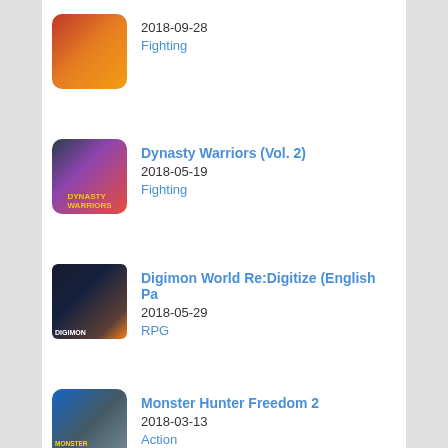2018-09-28 | Fighting
Dynasty Warriors (Vol. 2) | 2018-05-19 | Fighting
Digimon World Re:Digitize (English Pa | 2018-05-29 | RPG
Monster Hunter Freedom 2 | 2018-03-13 | Action